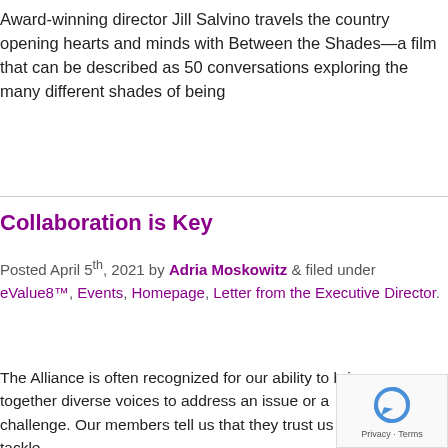Award-winning director Jill Salvino travels the country opening hearts and minds with Between the Shades—a film that can be described as 50 conversations exploring the many different shades of being
Collaboration is Key
Posted April 5th, 2021 by Adria Moskowitz & filed under eValue8™, Events, Homepage, Letter from the Executive Director.
The Alliance is often recognized for our ability to bring together diverse voices to address an issue or a challenge. Our members tell us that they trust us to tackle